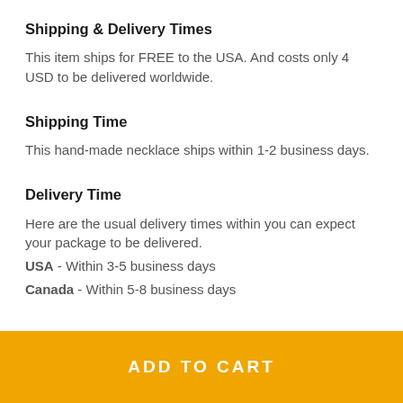Shipping & Delivery Times
This item ships for FREE to the USA. And costs only 4 USD to be delivered worldwide.
Shipping Time
This hand-made necklace ships within 1-2 business days.
Delivery Time
Here are the usual delivery times within you can expect your package to be delivered.
USA - Within 3-5 business days
Canada - Within 5-8 business days
ADD TO CART